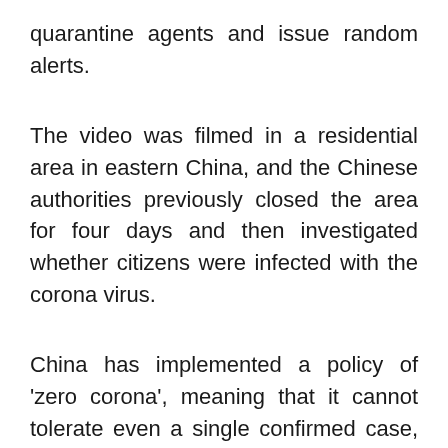quarantine agents and issue random alerts.
The video was filmed in a residential area in eastern China, and the Chinese authorities previously closed the area for four days and then investigated whether citizens were infected with the corona virus.
China has implemented a policy of 'zero corona', meaning that it cannot tolerate even a single confirmed case, but the number of confirmed cases continues to rise.